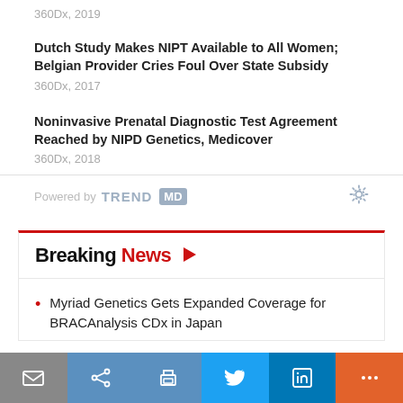360Dx, 2019
Dutch Study Makes NIPT Available to All Women; Belgian Provider Cries Foul Over State Subsidy
360Dx, 2017
Noninvasive Prenatal Diagnostic Test Agreement Reached by NIPD Genetics, Medicover
360Dx, 2018
Powered by TREND MD
Breaking News
Myriad Genetics Gets Expanded Coverage for BRACAnalysis CDx in Japan